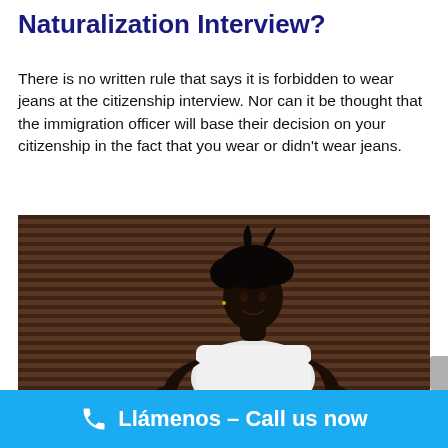Naturalization Interview?
There is no written rule that says it is forbidden to wear jeans at the citizenship interview. Nor can it be thought that the immigration officer will base their decision on your citizenship in the fact that you wear or didn't wear jeans.
[Figure (photo): A young Black man wearing a white t-shirt standing confidently in front of a corrugated metal wall with brown/dark tones, hands on hips, looking slightly upward.]
Llámenos - Call us now